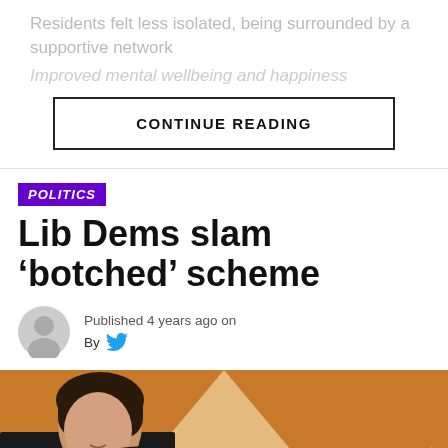Residents felt less isolated, being surrounded by a supportive network
Improved mental wellbeing and happiness
CONTINUE READING
POLITICS
Lib Dems slam ‘botched’ scheme
Published 4 years ago on
By
[Figure (photo): A woman with dark hair speaking at a Liberal Democrats event, with a spotlight beam behind her and the Liberal Democrats logo visible in the lower right corner.]